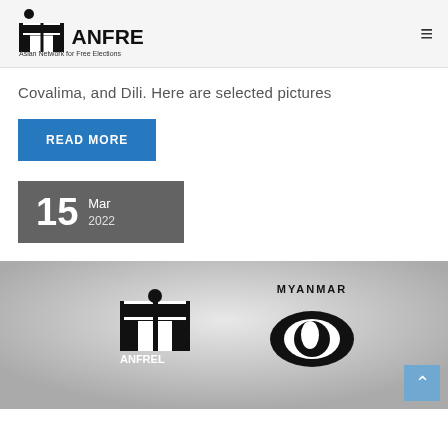ANFREL – Asian Network for Free Elections
Covalima, and Dili. Here are selected pictures
READ MORE
15 Mar 2022
[Figure (photo): Grayscale image showing ANFREL logo and Myanmar eye logo side by side]